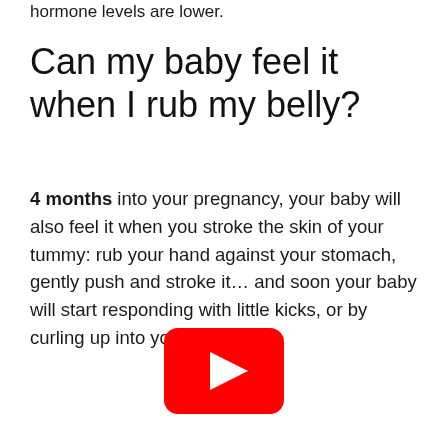hormone levels are lower.
Can my baby feel it when I rub my belly?
4 months into your pregnancy, your baby will also feel it when you stroke the skin of your tummy: rub your hand against your stomach, gently push and stroke it… and soon your baby will start responding with little kicks, or by curling up into your palm!
[Figure (other): YouTube play button icon — red rounded rectangle with white triangle play arrow]